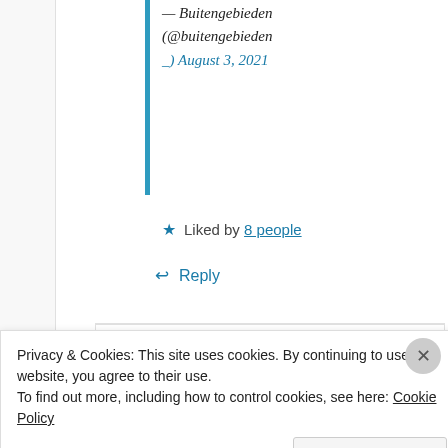— Buitengebieden (@buitengebieden _) August 3, 2021
★ Liked by 8 people
↩ Reply
[Figure (illustration): Red circular logo/avatar for Sylvia Avery showing 'DIGITAL SOLDIER' text with a silhouette figure]
Sylvia Avery
08/04/2021 @
Privacy & Cookies: This site uses cookies. By continuing to use this website, you agree to their use.
To find out more, including how to control cookies, see here: Cookie Policy
Close and accept